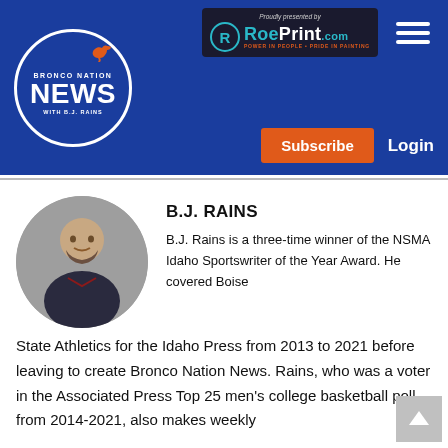[Figure (logo): Bronco Nation News with B.J. Rains circular logo in blue and white]
[Figure (logo): Proudly presented by RoePrint.com — Power in People, Pride in Painting — sponsor logo in dark background with teal and orange text]
Subscribe
Login
B.J. RAINS
[Figure (photo): Headshot photo of B.J. Rains, a man in a suit with a beard, circular crop]
B.J. Rains is a three-time winner of the NSMA Idaho Sportswriter of the Year Award. He covered Boise State Athletics for the Idaho Press from 2013 to 2021 before leaving to create Bronco Nation News. Rains, who was a voter in the Associated Press Top 25 men's college basketball poll from 2014-2021, also makes weekly